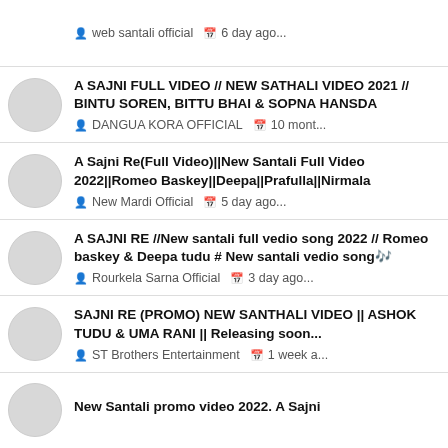web santali official  6 day ago...
A SAJNI FULL VIDEO // NEW SATHALI VIDEO 2021 // BINTU SOREN, BITTU BHAI & SOPNA HANSDA
DANGUA KORA OFFICIAL  10 mont...
A Sajni Re(Full Video)||New Santali Full Video 2022||Romeo Baskey||Deepa||Prafulla||Nirmala
New Mardi Official  5 day ago...
A SAJNI RE //New santali full vedio song 2022 // Romeo baskey & Deepa tudu # New santali vedio song🎵
Rourkela Sarna Official  3 day ago...
SAJNI RE (PROMO) NEW SANTHALI VIDEO || ASHOK TUDU & UMA RANI || Releasing soon...
ST Brothers Entertainment  1 week a...
New Santali promo video 2022. A Sajni